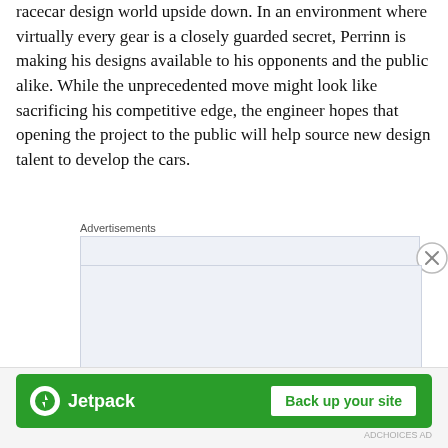racecar design world upside down. In an environment where virtually every gear is a closely guarded secret, Perrinn is making his designs available to his opponents and the public alike. While the unprecedented move might look like sacrificing his competitive edge, the engineer hopes that opening the project to the public will help source new design talent to develop the cars.
Advertisements
[Figure (other): Advertisement box with light blue background showing text: 'Build a writing habit. Post on the go.' with a button partially visible at the bottom.]
Advertisements
[Figure (other): Jetpack advertisement banner with green background, Jetpack logo on the left, and 'Back up your site' button on the right.]